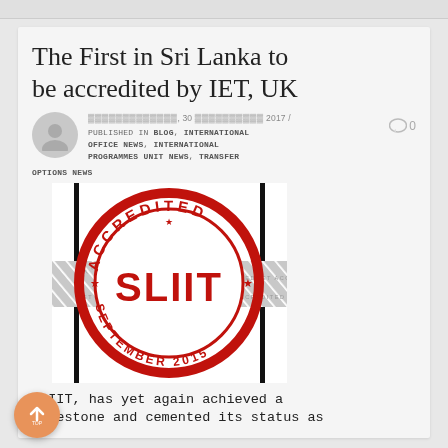The First in Sri Lanka to be accredited by IET, UK
, 30  2017 / PUBLISHED IN BLOG, INTERNATIONAL OFFICE NEWS, INTERNATIONAL PROGRAMMES UNIT NEWS, TRANSFER OPTIONS NEWS
[Figure (logo): Red circular ACCREDITED stamp with SLIIT text in the center and SEPTEMBER 2015 at the bottom, overlaid on a diagonal hatched grey banner reading IET ACCREDITED]
SLIIT, has yet again achieved a milestone and cemented its status as